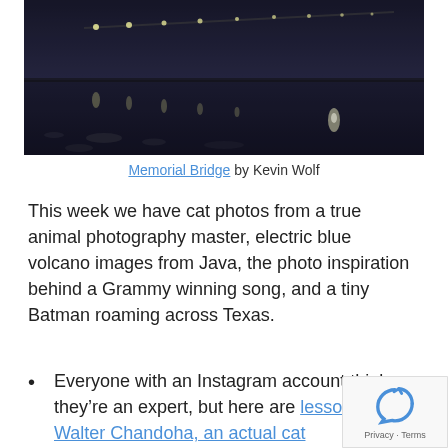[Figure (photo): Night photograph of Memorial Bridge with lights reflected on water, taken from a low angle showing ice or debris on the water surface]
Memorial Bridge by Kevin Wolf
This week we have cat photos from a true animal photography master, electric blue volcano images from Java, the photo inspiration behind a Grammy winning song, and a tiny Batman roaming across Texas.
Everyone with an Instagram account thinks they're an expert, but here are lessons from Walter Chandoha, an actual cat photography